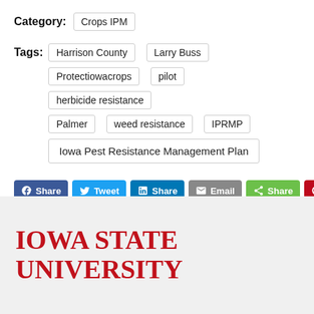Category: Crops IPM
Tags: Harrison County | Larry Buss | Protectiowacrops | pilot | herbicide resistance | Palmer | weed resistance | IPRMP | Iowa Pest Resistance Management Plan
[Figure (infographic): Social sharing buttons: Facebook Share, Twitter Tweet, LinkedIn Share, Email, Share, Pinterest Pin]
[Figure (logo): Iowa State University logo in red serif text]